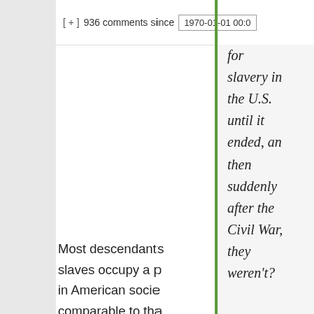[ + ]  936 comments since  1970-01-01 00:0
for slavery in the U.S. until it ended, and then suddenly after the Civil War, they weren't?
Most descendants of slaves occupy a position in American society comparable to that of their enslaved ancestors, especially if you i